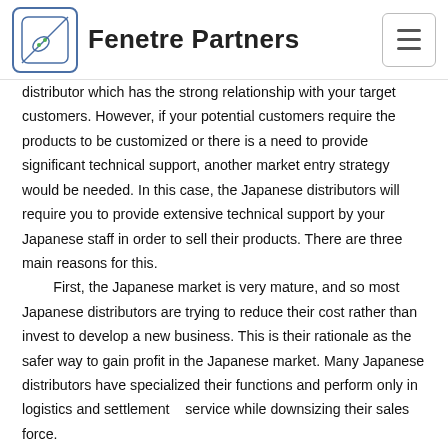Fenetre Partners
distributor which has the strong relationship with your target customers. However, if your potential customers require the products to be customized or there is a need to provide significant technical support, another market entry strategy would be needed. In this case, the Japanese distributors will require you to provide extensive technical support by your Japanese staff in order to sell their products. There are three main reasons for this.
    First, the Japanese market is very mature, and so most Japanese distributors are trying to reduce their cost rather than invest to develop a new business. This is their rationale as the safer way to gain profit in the Japanese market. Many Japanese distributors have specialized their functions and perform only in logistics and settlement   service while downsizing their sales force.
    Second, the business culture in Japan is such that there is a significant fear of failure. Japanese engineers are very cautious, so they ask distributors a very significant number of technical questions when distributors start the sales activities for their principal's products. Distributors need to have so much communication with engineers in the